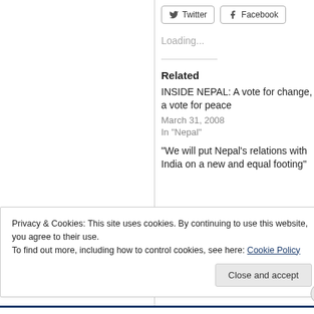[Figure (other): Twitter and Facebook social share buttons]
Loading...
Related
INSIDE NEPAL: A vote for change, a vote for peace
March 31, 2008
In "Nepal"
"We will put Nepal's relations with India on a new and equal footing"
Privacy & Cookies: This site uses cookies. By continuing to use this website, you agree to their use.
To find out more, including how to control cookies, see here: Cookie Policy
Close and accept